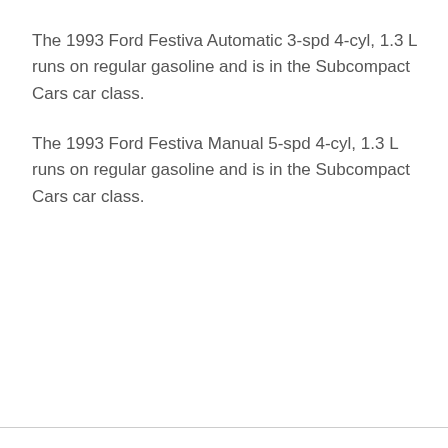The 1993 Ford Festiva Automatic 3-spd 4-cyl, 1.3 L runs on regular gasoline and is in the Subcompact Cars car class.
The 1993 Ford Festiva Manual 5-spd 4-cyl, 1.3 L runs on regular gasoline and is in the Subcompact Cars car class.